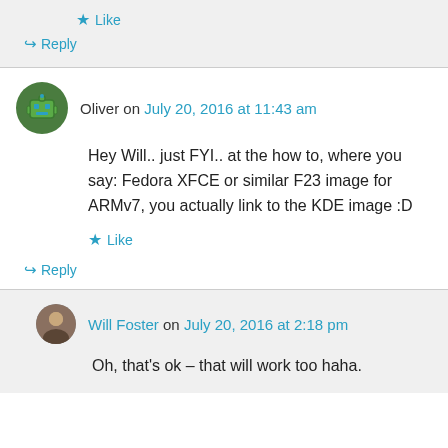Like
Reply
Oliver on July 20, 2016 at 11:43 am
Hey Will.. just FYI.. at the how to, where you say: Fedora XFCE or similar F23 image for ARMv7, you actually link to the KDE image :D
Like
Reply
Will Foster on July 20, 2016 at 2:18 pm
Oh, that's ok – that will work too haha.